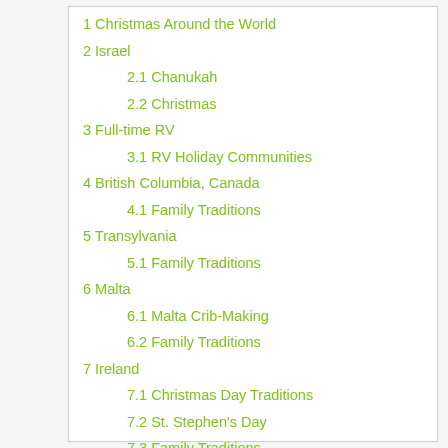1 Christmas Around the World
2 Israel
2.1 Chanukah
2.2 Christmas
3 Full-time RV
3.1 RV Holiday Communities
4 British Columbia, Canada
4.1 Family Traditions
5 Transylvania
5.1 Family Traditions
6 Malta
6.1 Malta Crib-Making
6.2 Family Traditions
7 Ireland
7.1 Christmas Day Traditions
7.2 St. Stephen's Day
7.3 Family Traditions
8 Australia
8.1 Family Traditions